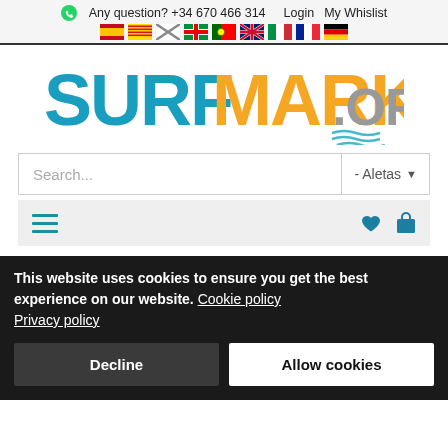Any question? +34 670 466 314  Login  My Whislist
[Figure (logo): SURFMARKET.ORG logo with SURF in blue, MARKET in orange, .ORG in gray, with wave decoration]
Search... - Aletas
[Figure (infographic): Navigation bar with hamburger menu icon on left and heart/bag icons on right in teal/blue color]
This website uses cookies to ensure you get the best experience on our website. Cookie policy Privacy policy
Decline  Allow cookies